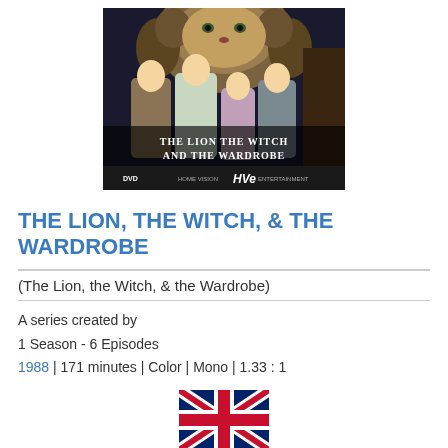[Figure (photo): DVD cover art for 'The Lion, the Witch and the Wardrobe' showing four children in front of a wardrobe with a lion above, HOME VISION HVe ENTERTAINMENT logo at bottom]
THE LION, THE WITCH, & THE WARDROBE
(The Lion, the Witch, & the Wardrobe)
A series created by
1 Season - 6 Episodes
1988 | 171 minutes | Color | Mono | 1.33 : 1
[Figure (illustration): United Kingdom flag (Union Jack)]